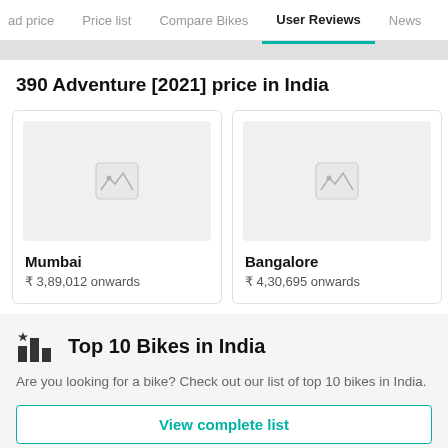ad price | Price list | Compare Bikes | User Reviews | News
390 Adventure [2021] price in India
[Figure (other): Mumbai city card with image placeholder, price ₹ 3,89,012 onwards]
[Figure (other): Bangalore city card with image placeholder, price ₹ 4,30,695 onwards]
Top 10 Bikes in India
Are you looking for a bike? Check out our list of top 10 bikes in India.
View complete list